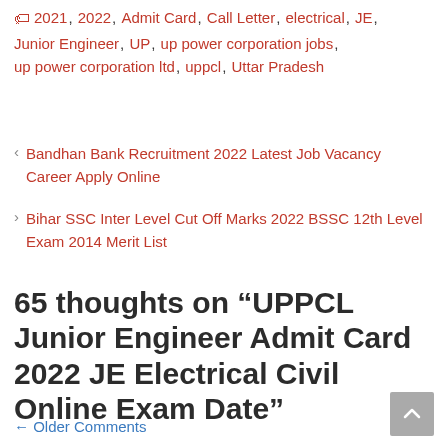Tags: 2021, 2022, Admit Card, Call Letter, electrical, JE, Junior Engineer, UP, up power corporation jobs, up power corporation ltd, uppcl, Uttar Pradesh
< Bandhan Bank Recruitment 2022 Latest Job Vacancy Career Apply Online
> Bihar SSC Inter Level Cut Off Marks 2022 BSSC 12th Level Exam 2014 Merit List
65 thoughts on “UPPCL Junior Engineer Admit Card 2022 JE Electrical Civil Online Exam Date”
← Older Comments